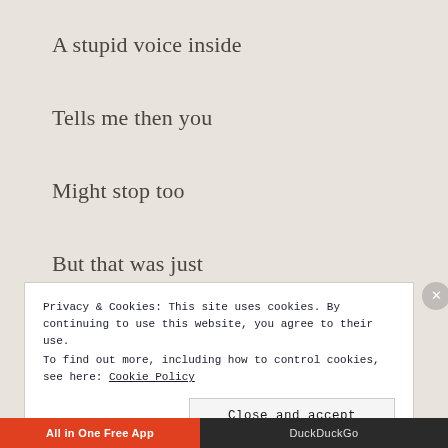A stupid voice inside
Tells me then you
Might stop too
But that was just
Another broken dream
Privacy & Cookies: This site uses cookies. By continuing to use this website, you agree to their use. To find out more, including how to control cookies, see here: Cookie Policy
Close and accept